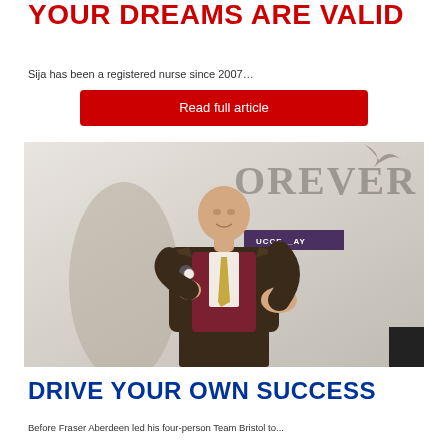YOUR DREAMS ARE VALID
Sija has been a registered nurse since 2007…
Read full article
[Figure (photo): A bald man in a dark brown tweed jacket and maroon waistcoat speaks on stage, holding a microphone, gesturing with one hand. Behind him is a banner partially showing 'OREVER' and a purple badge. The event appears to be a Forever Living conference.]
DRIVE YOUR OWN SUCCESS
Before Fraser Aberdeen led his four-person Team Bristol to...